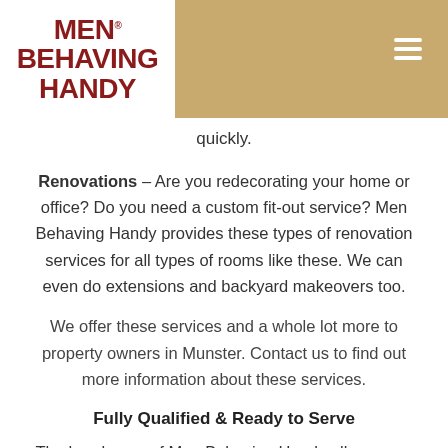[Figure (logo): Men Behaving Handy logo — red bold text on white background]
quickly.
Renovations – Are you redecorating your home or office? Do you need a custom fit-out service? Men Behaving Handy provides these types of renovation services for all types of rooms like these. We can even do extensions and backyard makeovers too.
We offer these services and a whole lot more to property owners in Munster. Contact us to find out more information about these services.
Fully Qualified & Ready to Serve
The handymen of Men Behaving Handy all possess the proper licenses, qualifications, education, and experience to perform whatever handyman job that is being asked of them. These could be renovations, repairs, installations, or whatever else that needs to be done. You will never need to do another property improvement job yourself in Munster ever again. Instead, you can simply make one phone call to us at 08 9418 5662 and